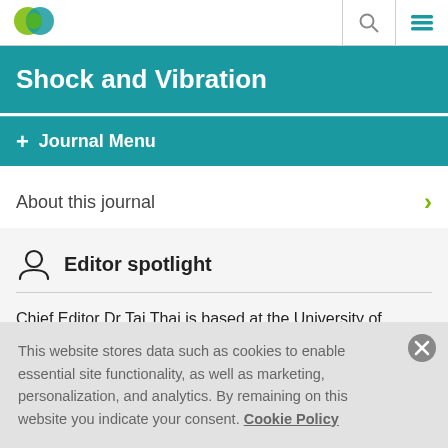[Figure (logo): Hindawi logo icon - green and blue circular design]
Shock and Vibration
+ Journal Menu
About this journal
Editor spotlight
Chief Editor Dr Tai Thai is based at the University of Melbourne and his current research focuses on high
This website stores data such as cookies to enable essential site functionality, as well as marketing, personalization, and analytics. By remaining on this website you indicate your consent. Cookie Policy